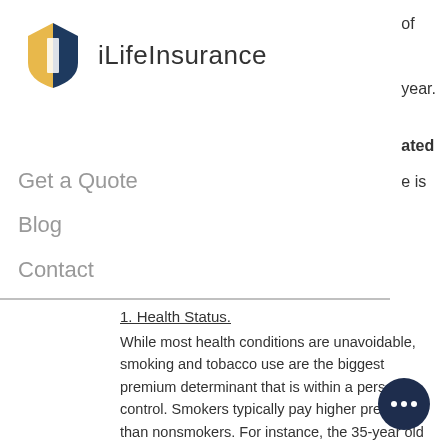[Figure (logo): iLifeInsurance logo with shield icon in gold and dark blue, with brand name text]
of
year.
ated
e is
Get a Quote
Blog
Contact
1. Health Status.
While most health conditions are unavoidable, smoking and tobacco use are the biggest premium determinant that is within a person's control. Smokers typically pay higher premiums than nonsmokers. For instance, the 35-year old nonsmoker's monthly premium rate for a $500,000 20-year term life policy would be around $30, while a year old smoker would pay $76 for same policy! For this reason, insurance